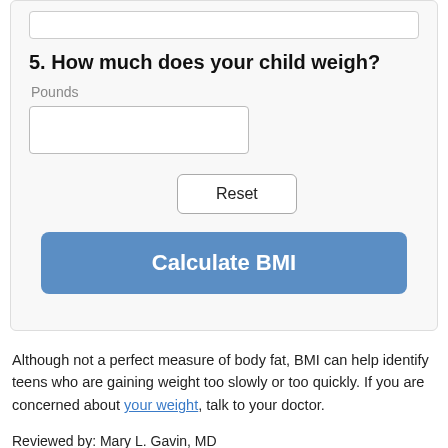5. How much does your child weigh?
Pounds
Reset
Calculate BMI
Although not a perfect measure of body fat, BMI can help identify teens who are gaining weight too slowly or too quickly. If you are concerned about your weight, talk to your doctor.
Reviewed by: Mary L. Gavin, MD
Date reviewed: January 2020